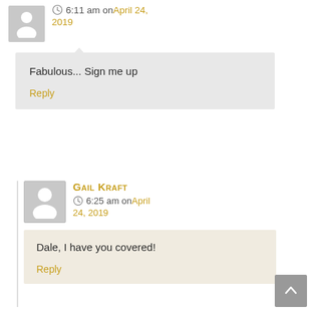6:11 am on April 24, 2019
Fabulous... Sign me up
Reply
Gail Kraft
6:25 am on April 24, 2019
Dale, I have you covered!
Reply